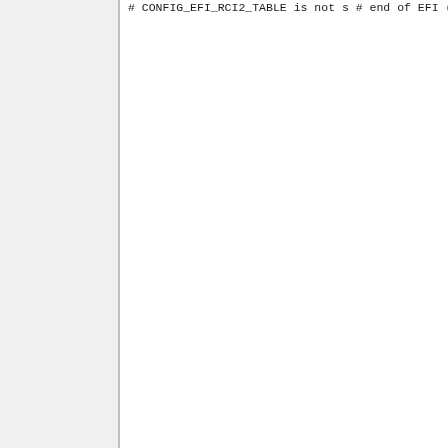# CONFIG_EFI_RCI2_TABLE is not s
# end of EFI (Extensible Firmwar

CONFIG_UEFI_CPER=y
CONFIG_UEFI_CPER_X86=y
CONFIG_EFI_EARLYCON=y

#
# Tegra firmware driver
#
# end of Tegra firmware driver
# end of Firmware Drivers

CONFIG_HAVE_KVM=y
CONFIG_HAVE_KVM_IRQCHIP=y
CONFIG_HAVE_KVM_IRQFD=y
CONFIG_HAVE_KVM_IRQ_ROUTING=y
CONFIG_HAVE_KVM_EVENTFD=y
CONFIG_KVM_MMIO=y
CONFIG_KVM_ASYNC_PF=y
CONFIG_HAVE_KVM_MSI=y
CONFIG_HAVE_KVM_CPU_RELAX_INTERC
CONFIG_KVM_VFIO=y
CONFIG_KVM_GENERIC_DIRTYLOG_READ
CONFIG_KVM_COMPAT=y
CONFIG_HAVE_KVM_IRQ_BYPASS=y
CONFIG_HAVE_KVM_NO_POLL=y
CONFIG_VIRTUALIZATION=y
CONFIG_KVM=m
CONFIG_KVM_INTEL=m
CONFIG_KVM_AMD=m
CONFIG_KVM_MMU_AUDIT=y
# CONFIG_KVMGT is not s